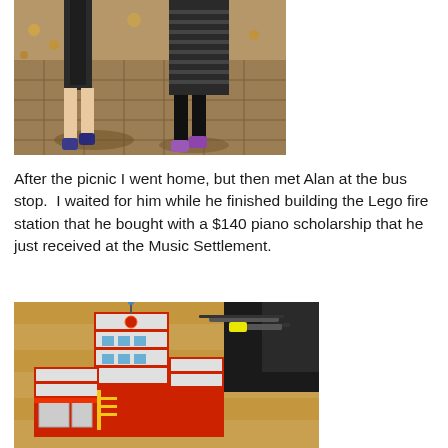[Figure (photo): Two children standing outdoors on a brick/paved surface with fallen leaves visible on the ground. Only their lower bodies are visible — one wearing dark shorts and blue sneakers, the other wearing a striped dress and purple shoes.]
After the picnic I went home, but then met Alan at the bus stop.  I waited for him while he finished building the Lego fire station that he bought with a $140 piano scholarship that he just received at the Music Settlement.
[Figure (photo): A large Lego fire station set built and displayed on a wooden floor. The set includes a multi-story building with red and white colors, fire trucks, and a helicopter.]